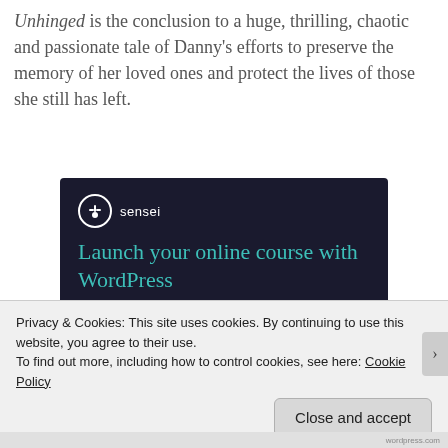Unhinged is the conclusion to a huge, thrilling, chaotic and passionate tale of Danny's efforts to preserve the memory of her loved ones and protect the lives of those she still has left.
[Figure (other): Sensei advertisement banner with dark navy background. Shows Sensei logo (tree icon in white circle) with brand name, headline 'Launch your online course with WordPress' in teal, and a 'Learn More' teal rounded button.]
Privacy & Cookies: This site uses cookies. By continuing to use this website, you agree to their use.
To find out more, including how to control cookies, see here: Cookie Policy